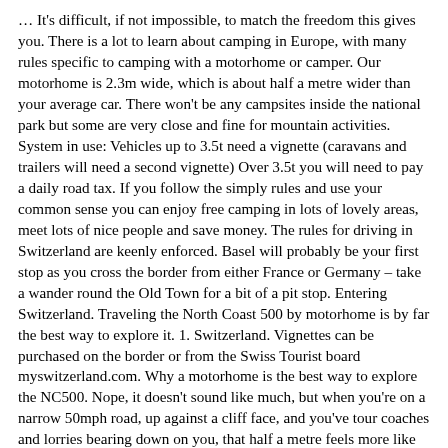… It's difficult, if not impossible, to match the freedom this gives you. There is a lot to learn about camping in Europe, with many rules specific to camping with a motorhome or camper. Our motorhome is 2.3m wide, which is about half a metre wider than your average car. There won't be any campsites inside the national park but some are very close and fine for mountain activities. System in use: Vehicles up to 3.5t need a vignette (caravans and trailers will need a second vignette) Over 3.5t you will need to pay a daily road tax. If you follow the simply rules and use your common sense you can enjoy free camping in lots of lovely areas, meet lots of nice people and save money. The rules for driving in Switzerland are keenly enforced. Basel will probably be your first stop as you cross the border from either France or Germany – take a wander round the Old Town for a bit of a pit stop. Entering Switzerland. Traveling the North Coast 500 by motorhome is by far the best way to explore it. 1. Switzerland. Vignettes can be purchased on the border or from the Swiss Tourist board myswitzerland.com. Why a motorhome is the best way to explore the NC500. Nope, it doesn't sound like much, but when you're on a narrow 50mph road, up against a cliff face, and you've tour coaches and lorries bearing down on you, that half a metre feels more like you've an entire caravan strapped to both sides. You can reach your starting point in Bern, Switzerland by flying into Zurich and driving the 86 miles to Bern. This route has tolls, so be sure to have cash on hand in case cards are not accepted. As soon as